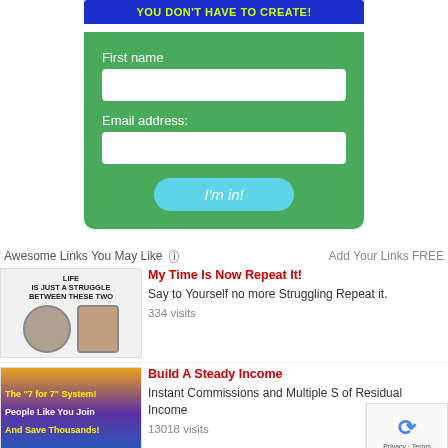[Figure (screenshot): Green signup form with blue banner reading 'YOU DON'T HAVE TO CREATE!', First name field, Email address field, and 'I'm in!' button]
Awesome Links You May Like
Add Your Links FREE
[Figure (photo): Image showing brain and heart with text 'LIFE IS JUST A STRUGGLE BETWEEN THESE TWO']
My Time Is Now Repeat It!
Say to Yourself no more Struggling Repeat it.
334 visits
[Figure (illustration): Colorful ad: The "7 for 7" System! People Like You Join And Save Thousands!]
Build A Steady Income
Instant Commissions and Multiple S of Residual Income
13018 visits